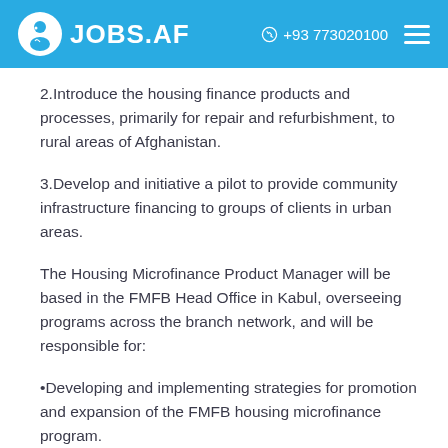JOBS.AF  +93 773020100
2.Introduce the housing finance products and processes, primarily for repair and refurbishment, to rural areas of Afghanistan.
3.Develop and initiative a pilot to provide community infrastructure financing to groups of clients in urban areas.
The Housing Microfinance Product Manager will be based in the FMFB Head Office in Kabul, overseeing programs across the branch network, and will be responsible for:
•Developing and implementing strategies for promotion and expansion of the FMFB housing microfinance program.
•Managing the planning and implementation of urban and…